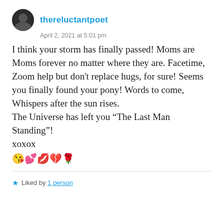thereluctantpoet
April 2, 2021 at 5:01 pm
I think your storm has finally passed! Moms are Moms forever no matter where they are. Facetime, Zoom help but don’t replace hugs, for sure! Seems you finally found your pony! Words to come, Whispers after the sun rises.
The Universe has left you “The Last Man Standing”!
xoxox
😘💕💋💔🌹
Liked by 1 person